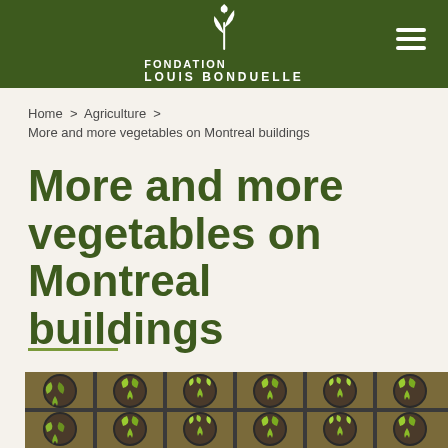FONDATION LOUIS BONDUELLE
Home > Agriculture > More and more vegetables on Montreal buildings
More and more vegetables on Montreal buildings
[Figure (photo): Overhead view of small plant seedlings growing in round plastic pots arranged in a grid tray, photographed from above on a rooftop or building surface.]